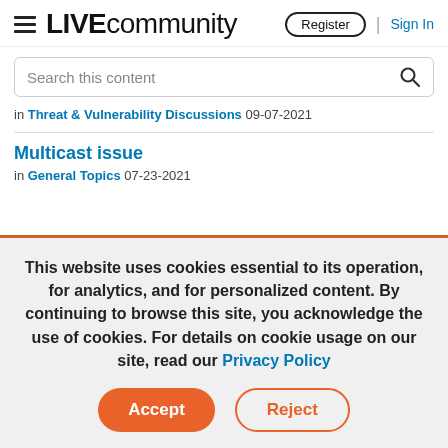LIVE community — Register | Sign In
Search this content
in Threat & Vulnerability Discussions 09-07-2021
Multicast issue
in General Topics 07-23-2021
This website uses cookies essential to its operation, for analytics, and for personalized content. By continuing to browse this site, you acknowledge the use of cookies. For details on cookie usage on our site, read our Privacy Policy